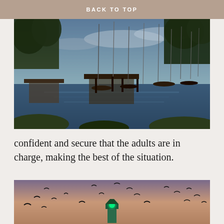BACK TO TOP
[Figure (photo): Marina at dusk with boats moored at docks, reflections on calm water, trees and cloudy sky in background]
confident and secure that the adults are in charge, making the best of the situation.
[Figure (photo): Lighthouse with green light at dusk, birds flying in the sky above it against a pink/purple sky]